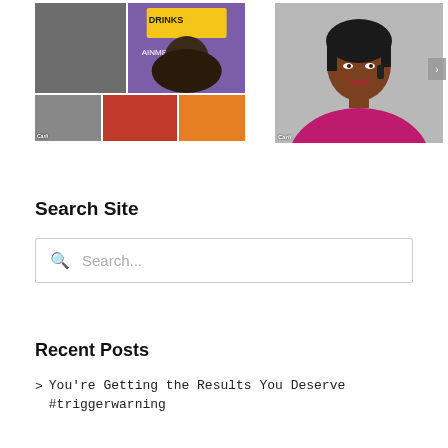[Figure (photo): Left side: photo collage of event/social gathering images with 'Carli' branding. Right side: professional portrait of a woman in a magenta blazer talking on a phone, with 'Carli' branding and a next-arrow navigation button.]
Search Site
Search...
Recent Posts
> You're Getting the Results You Deserve #triggerwarning